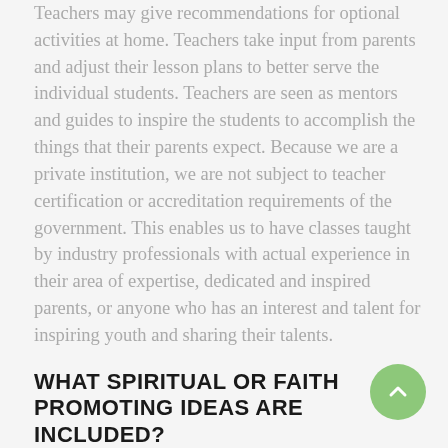Teachers may give recommendations for optional activities at home. Teachers take input from parents and adjust their lesson plans to better serve the individual students. Teachers are seen as mentors and guides to inspire the students to accomplish the things that their parents expect. Because we are a private institution, we are not subject to teacher certification or accreditation requirements of the government. This enables us to have classes taught by industry professionals with actual experience in their area of expertise, dedicated and inspired parents, or anyone who has an interest and talent for inspiring youth and sharing their talents.
WHAT SPIRITUAL OR FAITH PROMOTING IDEAS ARE INCLUDED?